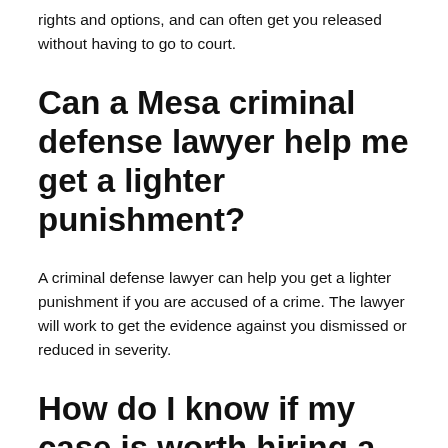rights and options, and can often get you released without having to go to court.
Can a Mesa criminal defense lawyer help me get a lighter punishment?
A criminal defense lawyer can help you get a lighter punishment if you are accused of a crime. The lawyer will work to get the evidence against you dismissed or reduced in severity.
How do I know if my case is worth hiring a Mesa criminal defense lawyer?